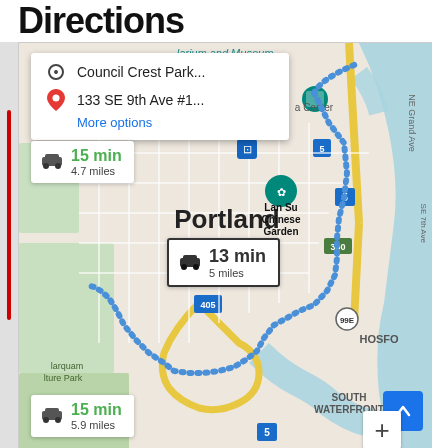Directions
[Figure (map): Google Maps screenshot showing driving directions in Portland, Oregon. Route from Council Crest Park to 133 SE 9th Ave #1 shown with blue dotted route line. Three route options displayed: 15 min 4.7 miles (top), 13 min 5 miles (selected, center), 15 min 5.9 miles (bottom). Map shows Portland area with highways I-5, I-405, 99E, road 300, Lan Su Chinese Garden label, South Waterfront area, Marquam Nature Park, and HOSFO label. Teal/cyan colored waterway (Willamette River) visible on right side.]